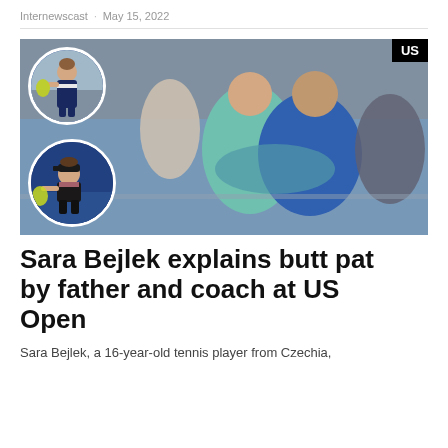Internewscast · May 15, 2022
[Figure (photo): Tennis player Sara Bejlek hugging her father/coach courtside at US Open, with two circular inset photos of her playing tennis. A 'US' badge in the top-right corner.]
Sara Bejlek explains butt pat by father and coach at US Open
Sara Bejlek, a 16-year-old tennis player from Czechia,